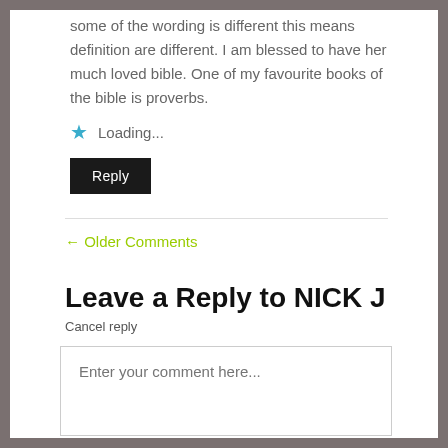some of the wording is different this means definition are different. I am blessed to have her much loved bible. One of my favourite books of the bible is proverbs.
Loading...
Reply
← Older Comments
Leave a Reply to NICK J
Cancel reply
Enter your comment here...